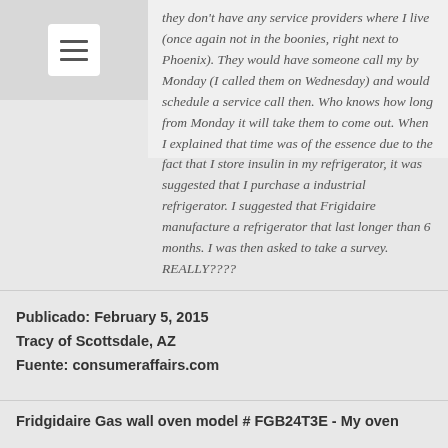[Figure (other): Navigation hamburger menu icon in a white rounded square on a gray background]
they don't have any service providers where I live (once again not in the boonies, right next to Phoenix). They would have someone call my by Monday (I called them on Wednesday) and would schedule a service call then. Who knows how long from Monday it will take them to come out. When I explained that time was of the essence due to the fact that I store insulin in my refrigerator, it was suggested that I purchase a industrial refrigerator. I suggested that Frigidaire manufacture a refrigerator that last longer than 6 months. I was then asked to take a survey. REALLY????
Publicado: February 5, 2015
Tracy of Scottsdale, AZ
Fuente: consumeraffairs.com
Fridgidaire Gas wall oven model # FGB24T3E - My oven